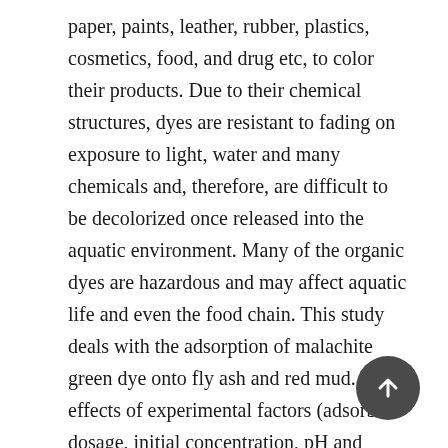paper, paints, leather, rubber, plastics, cosmetics, food, and drug etc, to color their products. Due to their chemical structures, dyes are resistant to fading on exposure to light, water and many chemicals and, therefore, are difficult to be decolorized once released into the aquatic environment. Many of the organic dyes are hazardous and may affect aquatic life and even the food chain. This study deals with the adsorption of malachite green dye onto fly ash and red mud. The effects of experimental factors (adsorbent dosage, initial concentration, pH and temperature) on the adsorption process were examined by using 24 full factorial design. The results were statistically analyzed by using the student's t-test, analysis of variance (ANOVA) and an F-test to define important experimental factors and their levels. A regression model that considers the significant main and interaction effects was suggested. The results showed